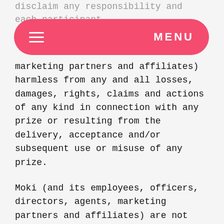MENU
marketing partners and affiliates) harmless from any and all losses, damages, rights, claims and actions of any kind in connection with any prize or resulting from the delivery, acceptance and/or subsequent use or misuse of any prize.
Moki (and its employees, officers, directors, agents, marketing partners and affiliates) are not responsible for any condition caused by events beyond the control of Moki that may cause the Competition to be disrupted.
Any information or data you provide will be managed by Moki as detailed in these Official Rules and in our Privacy Policy.